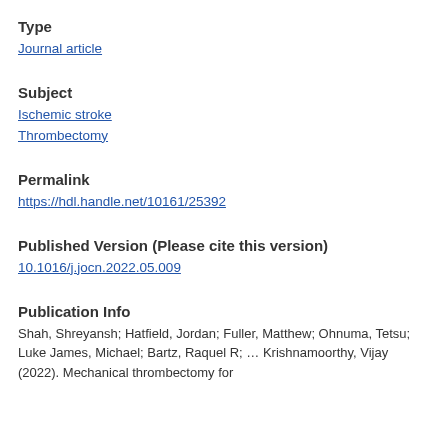Type
Journal article
Subject
Ischemic stroke
Thrombectomy
Permalink
https://hdl.handle.net/10161/25392
Published Version (Please cite this version)
10.1016/j.jocn.2022.05.009
Publication Info
Shah, Shreyansh; Hatfield, Jordan; Fuller, Matthew; Ohnuma, Tetsu; Luke James, Michael; Bartz, Raquel R; ... Krishnamoorthy, Vijay (2022). Mechanical thrombectomy for